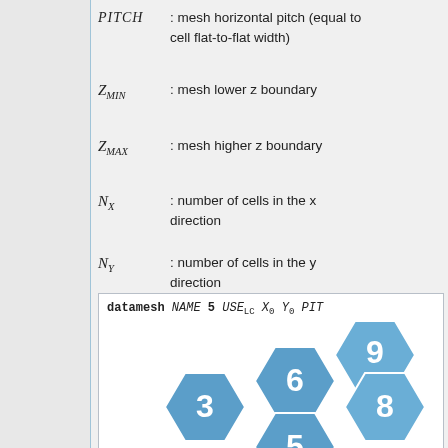PITCH : mesh horizontal pitch (equal to cell flat-to-flat width)
Z_MIN : mesh lower z boundary
Z_MAX : mesh higher z boundary
N_X : number of cells in the x direction
N_Y : number of cells in the y direction
N_Z : number of cells in the z direction
[Figure (illustration): Code snippet showing datamesh syntax: 'datamesh NAME 5 USE_LC X0 Y0 PITCH ...' above a diagram of numbered hexagonal cells (3,5,6,8,9) arranged in a hexagonal grid pattern with blue fill and white numbers.]